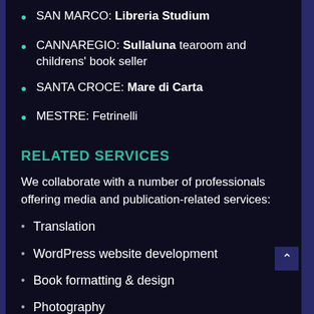SAN MARCO: Libreria Studium
CANNAREGIO: Sullaluna tearoom and childrens' book seller
SANTA CROCE: Mare di Carta
MESTRE: Fetrinelli
RELATED SERVICES
We collaborate with a number of professionals offering media and publication-related services:
Translation
WordPress website development
Book formatting & design
Photography